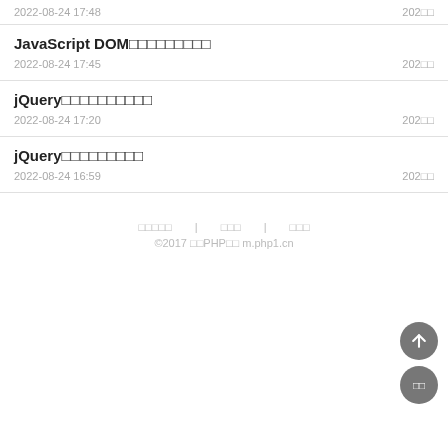2022-08-24 17:48 | 202□□
JavaScript DOM□□□□□□□□□
2022-08-24 17:45 | 202□□
jQuery□□□□□□□□□□
2022-08-24 17:20 | 202□□
jQuery□□□□□□□□□
2022-08-24 16:59 | 202□□
□□□□□ | □□□ | □□□
©2017 □□PHP□□ m.php1.cn